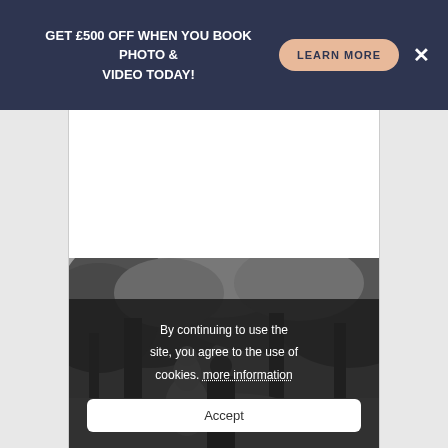GET £500 OFF WHEN YOU BOOK PHOTO & VIDEO TODAY!
[Figure (photo): Black and white photo of a couple outdoors surrounded by trees]
By continuing to use the site, you agree to the use of cookies. more information
Accept